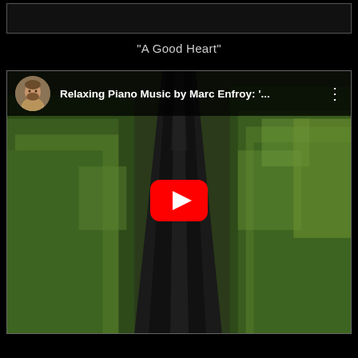[Figure (screenshot): Top browser/app bar area, dark background with thin border rectangle]
"A Good Heart"
[Figure (screenshot): YouTube embedded video player showing aerial view of a road through green trees with a river/dark path, with YouTube play button overlay. Video title: Relaxing Piano Music by Marc Enfroy: '... with channel avatar showing a bearded man in tan/khaki jacket.]